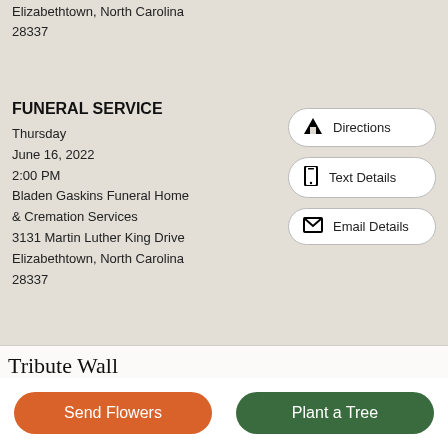Elizabethtown, North Carolina
28337
FUNERAL SERVICE
Thursday
June 16, 2022
2:00 PM
Bladen Gaskins Funeral Home & Cremation Services
3131 Martin Luther King Drive
Elizabethtown, North Carolina
28337
Directions
Text Details
Email Details
Tribute Wall
Send Flowers
Plant a Tree